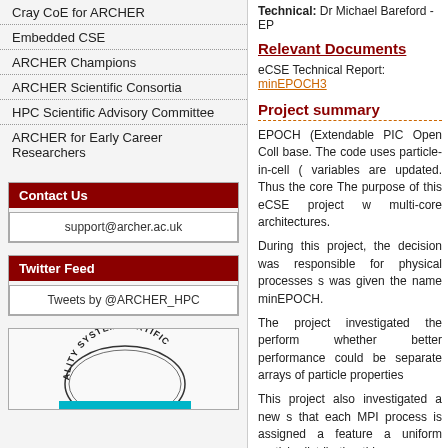Cray CoE for ARCHER
Embedded CSE
ARCHER Champions
ARCHER Scientific Consortia
HPC Scientific Advisory Committee
ARCHER for Early Career Researchers
Contact Us
support@archer.ac.uk
Twitter Feed
Tweets by @ARCHER_HPC
[Figure (other): Quality System Certification seal/logo]
Technical: Dr Michael Bareford - EP
Relevant Documents
eCSE Technical Report: minEPOCH3
Project summary
EPOCH (Extendable PIC Open Coll base. The code uses particle-in-cell ( variables are updated. Thus the core The purpose of this eCSE project w multi-core architectures.
During this project, the decision was responsible for physical processes s was given the name minEPOCH.
The project investigated the perform whether better performance could be separate arrays of particle properties
This project also investigated a new s that each MPI process is assigned a feature a uniform particle distribution this reason, an alternative scheme ha the sub-grid volume.